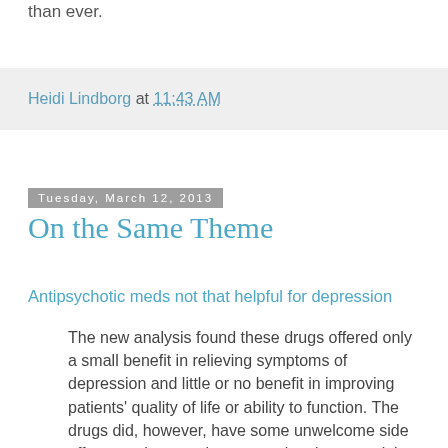than ever.
Heidi Lindborg at 11:43 AM
Tuesday, March 12, 2013
On the Same Theme
Antipsychotic meds not that helpful for depression
The new analysis found these drugs offered only a small benefit in relieving symptoms of depression and little or no benefit in improving patients' quality of life or ability to function. The drugs did, however, have some unwelcome side effects such as restlessness, sleepiness, weight gain and some abnormal lab test results such as increased cholesterol levels, the researchers reported. Spielmans suggested that some of the trials they looked at may have tried to boost the perception of the effectiveness of the drug and downplay its